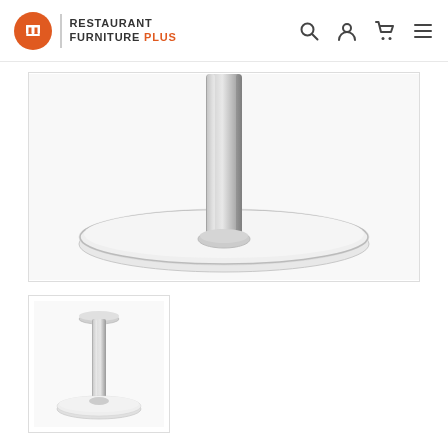[Figure (screenshot): Restaurant Furniture Plus website header with orange circular logo featuring a chair icon, brand name text, and navigation icons (search, user, cart, menu)]
[Figure (photo): Close-up photo of a stainless steel round table base showing the brushed metal column and circular disc base from above]
[Figure (photo): Thumbnail photo of full stainless steel table base showing the complete pedestal with column and round flat base]